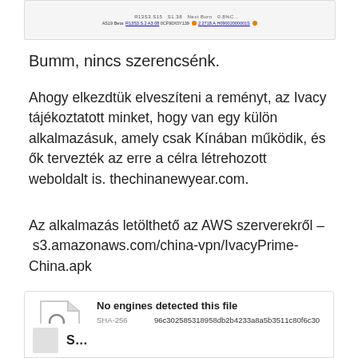[Figure (screenshot): Partial screenshot of a web interface showing table header rows with columns and data values, with an orange dot indicator]
Bumm, nincs szerencsénk.
Ahogy elkezdtük elveszíteni a reményt, az Ivacy tájékoztatott minket, hogy van egy külön alkalmazásuk, amely csak Kínában működik, és ők tervezték az erre a célra létrehozott weboldalt is. thechinanewyear.com.
Az alkalmazás letölthető az AWS szerverekről – s3.amazonaws.com/china-vpn/IvacyPrime-China.apk
[Figure (screenshot): VirusTotal scan result card for IvacyPrime-China.apk showing 0/61 engines detected, SHA-256 hash, file name, size 24.65 MB, last analysis 2019-03-29 12:31:24 UTC]
[Figure (screenshot): Bottom partial card with icon, beginning of another scan result]